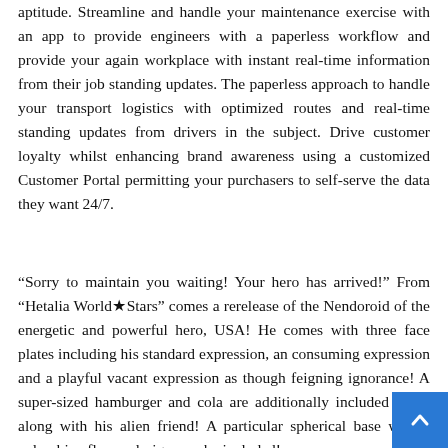aptitude. Streamline and handle your maintenance exercise with an app to provide engineers with a paperless workflow and provide your again workplace with instant real-time information from their job standing updates. The paperless approach to handle your transport logistics with optimized routes and real-time standing updates from drivers in the subject. Drive customer loyalty whilst enhancing brand awareness using a customized Customer Portal permitting your purchasers to self-serve the data they want 24/7.
“Sorry to maintain you waiting! Your hero has arrived!” From “Hetalia World★Stars” comes a rerelease of the Nendoroid of the energetic and powerful hero, USA! He comes with three face plates including his standard expression, an consuming expression and a playful vacant expression as though feigning ignorance! A super-sized hamburger and cola are additionally included along along with his alien friend! A particular spherical base with a columbine flower design will be included!